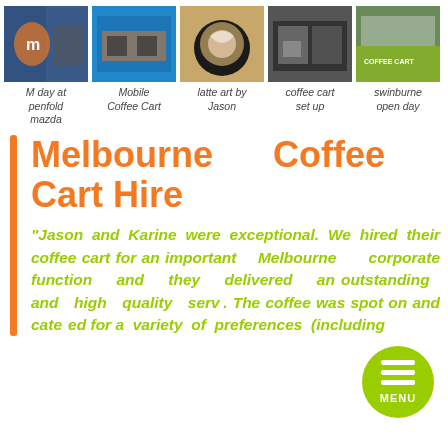[Figure (photo): Row of 5 coffee cart event photos]
M day at penfold mazda
Mobile Coffee Cart
latte art by Jason
coffee cart set up
swinburne open day
Melbourne Coffee Cart Hire
“Jason and Karine were exceptional. We hired their coffee cart for an important Melbourne corporate function and they delivered an outstanding and high quality service. The coffee was spot on and catered for a variety of preferences (including